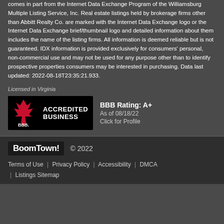comes in part from the Internet Data Exchange Program of the Williamsburg Multiple Listing Service, Inc. Real estate listings held by brokerage firms other than Abbitt Realty Co. are marked with the Internet Data Exchange logo or the Internet Data Exchange brief/thumbnail logo and detailed information about them includes the name of the listing firms. All information is deemed reliable but is not guaranteed. IDX information is provided exclusively for consumers' personal, non-commercial use and may not be used for any purpose other than to identify prospective properties consumers may be interested in purchasing. Data last updated: 2022-08-18T23:35:21.933.
Licensed in Virginia
[Figure (logo): BBB Accredited Business badge with black background]
BBB Rating: A+
As of 08/18/22
Click for Profile
BoomTown! © 2022
Terms of Use | Privacy Policy | Accessibility | DMCA | Listings Sitemap